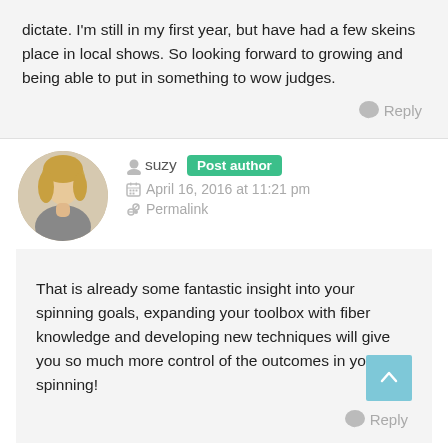dictate. I'm still in my first year, but have had a few skeins place in local shows. So looking forward to growing and being able to put in something to wow judges.
Reply
suzy  Post author
April 16, 2016 at 11:21 pm
Permalink
That is already some fantastic insight into your spinning goals, expanding your toolbox with fiber knowledge and developing new techniques will give you so much more control of the outcomes in your spinning!
Reply